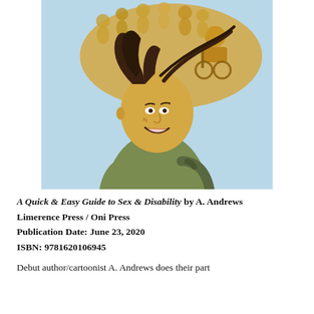[Figure (illustration): Book cover illustration showing a smiling person with flowing dark hair looking up, with golden-toned illustrated diverse figures (including a person in a wheelchair) emerging from their head like a thought cloud, against a light blue background.]
A Quick & Easy Guide to Sex & Disability by A. Andrews
Limerence Press / Oni Press
Publication Date: June 23, 2020
ISBN: 9781620106945

Debut author/cartoonist A. Andrews does their part
Debut author/cartoonist A. Andrews does their part